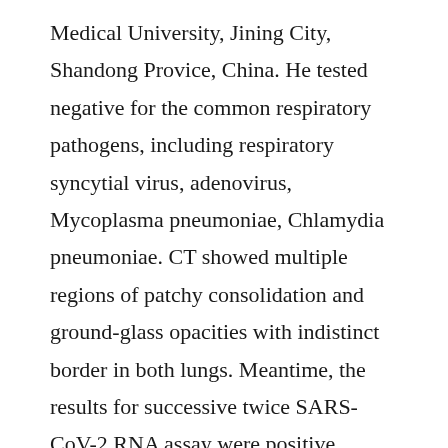Medical University, Jining City, Shandong Provice, China. He tested negative for the common respiratory pathogens, including respiratory syncytial virus, adenovirus, Mycoplasma pneumoniae, Chlamydia pneumoniae. CT showed multiple regions of patchy consolidation and ground-glass opacities with indistinct border in both lungs. Meantime, the results for successive twice SARS-CoV-2 RNA assay were positive.
We performed a retrospective study. Blood routine and lymphocyte subtype were detected with cell analyzer and flow cytometer, respectively. Interleukin 6 (IL-6) was also